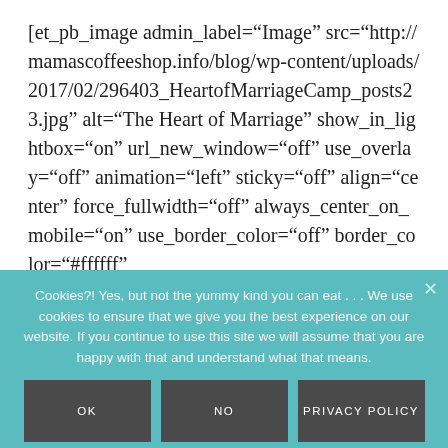[et_pb_image admin_label="Image" src="http://mamascoffeeshop.info/blog/wp-content/uploads/2017/02/296403_HeartofMarriageCamp_posts23.jpg" alt="The Heart of Marriage" show_in_lightbox="on" url_new_window="off" use_overlay="off" animation="left" sticky="off" align="center" force_fullwidth="off" always_center_on_mobile="on" use_border_color="off" border_color="#ffffff"
Cookies?! Yes, but not the yummy kind you can eat . . . We use cookies to ensure that we give you the best experience on our website. If you continue to use this site we will assume that you are happy with that and understand what that means.
OK
NO
PRIVACY POLICY